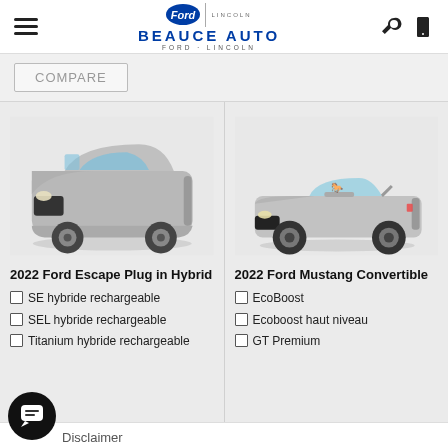Beauce Auto Ford Lincoln
COMPARE
[Figure (photo): 2022 Ford Escape Plug in Hybrid silver SUV front 3/4 view]
2022 Ford Escape Plug in Hybrid
SE hybride rechargeable
SEL hybride rechargeable
Titanium hybride rechargeable
[Figure (photo): 2022 Ford Mustang Convertible silver front 3/4 view]
2022 Ford Mustang Convertible
EcoBoost
Ecoboost haut niveau
GT Premium
Disclaimer